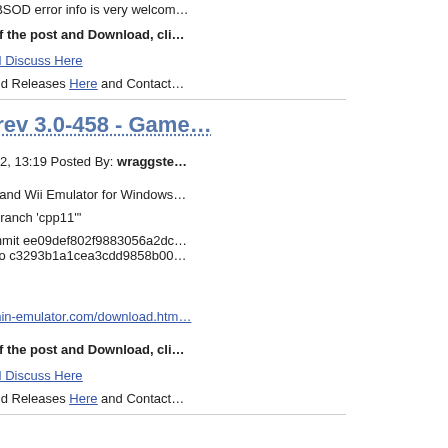crash logs and BSOD error info is very welcom…
To read more of the post and Download, cli…
Join In and Discuss Here
Submit News and Releases Here and Contact…
Dolphin-rev 3.0-458 - Game…
March 12th, 2012, 13:19 Posted By: wraggste…
The Gamecube and Wii Emulator for Windows…
Revert "Merge branch 'cpp11'"
This reverts commit ee09def802f9883056a2dc… changes made to c3293b1a1cea3cdd9858b00…
Conflicts:
CMakeLists.txt
http://www.dolphin-emulator.com/download.htm…
To read more of the post and Download, cli…
Join In and Discuss Here
Submit News and Releases Here and Contact…